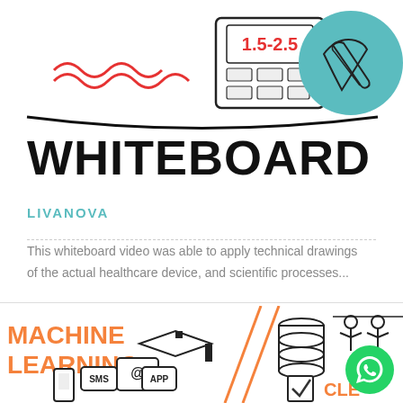[Figure (illustration): Whiteboard animation illustration showing a boat with red wavy lines, a calculator/device displaying 1.5-2.5, and a teal circle with a hand holding a pen]
WHITEBOARD
LIVANOVA
This whiteboard video was able to apply technical drawings of the actual healthcare device, and scientific processes...
[Figure (illustration): Machine learning whiteboard illustration showing orange MACHINE LEARNING text, graduation cap, database cylinder, people silhouettes, SMS/APP/@ icons with phone, checkmark, CLE text (partially visible), and a WhatsApp button overlay]